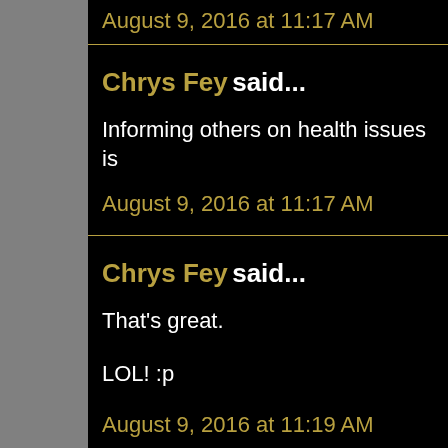August 9, 2016 at 11:17 AM
Chrys Fey said...
Informing others on health issues is
August 9, 2016 at 11:17 AM
Chrys Fey said...
That's great.
LOL! :p
August 9, 2016 at 11:19 AM